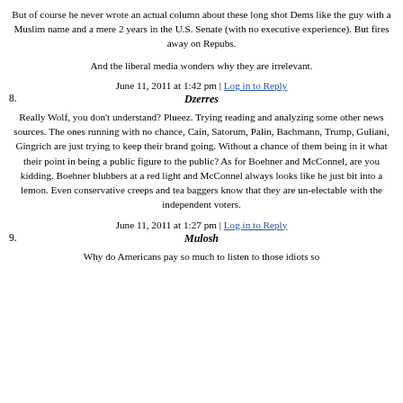But of course he never wrote an actual column about these long shot Dems like the guy with a Muslim name and a mere 2 years in the U.S. Senate (with no executive experience). But fires away on Repubs.
And the liberal media wonders why they are irrelevant.
June 11, 2011 at 1:42 pm | Log in to Reply
8. Dzerres
Really Wolf, you don't understand? Plueez. Trying reading and analyzing some other news sources. The ones running with no chance, Cain, Satorum, Palin, Bachmann, Trump, Guliani, Gingrich are just trying to keep their brand going. Without a chance of them being in it what their point in being a public figure to the public? As for Boehner and McConnel, are you kidding. Boehner blubbers at a red light and McConnel always looks like he just bit into a lemon. Even conservative creeps and tea baggers know that they are un-electable with the independent voters.
June 11, 2011 at 1:27 pm | Log in to Reply
9. Mulosh
Why do Americans pay so much to listen to those idiots so